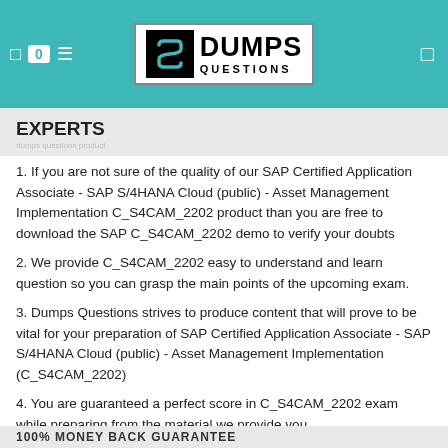Dumps Questions logo header
EXPERTS
1. If you are not sure of the quality of our SAP Certified Application Associate - SAP S/4HANA Cloud (public) - Asset Management Implementation C_S4CAM_2202 product than you are free to download the SAP C_S4CAM_2202 demo to verify your doubts
2. We provide C_S4CAM_2202 easy to understand and learn question so you can grasp the main points of the upcoming exam.
3. Dumps Questions strives to produce content that will prove to be vital for your preparation of SAP Certified Application Associate - SAP S/4HANA Cloud (public) - Asset Management Implementation (C_S4CAM_2202)
4. You are guaranteed a perfect score in C_S4CAM_2202 exam while preparing from the material we provide you.
100% MONEY BACK GUARANTEE